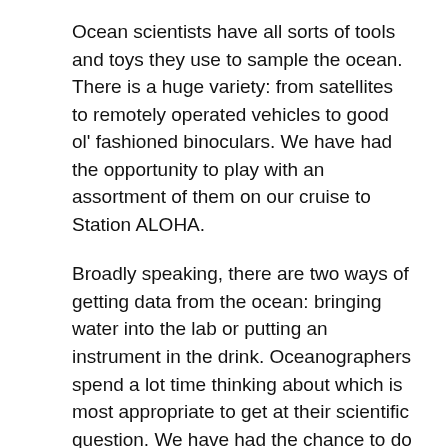Ocean scientists have all sorts of tools and toys they use to sample the ocean. There is a huge variety: from satellites to remotely operated vehicles to good ol' fashioned binoculars. We have had the opportunity to play with an assortment of them on our cruise to Station ALOHA.
Broadly speaking, there are two ways of getting data from the ocean: bringing water into the lab or putting an instrument in the drink. Oceanographers spend a lot time thinking about which is most appropriate to get at their scientific question. We have had the chance to do a bit of both to accommodate the diverse interests of our science party.
We've already heard about a few ways to look at sediments and particles. The sediments traps, McLane pumps, and bottles are all great examples of pulling